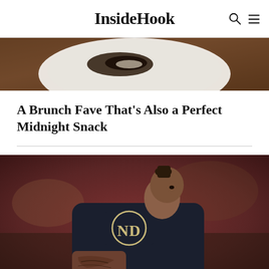InsideHook
[Figure (photo): Overhead shot of a dish on a white plate, partial view from top, food with dark sauce on wooden surface]
A Brunch Fave That's Also a Perfect Midnight Snack
[Figure (photo): A Notre Dame football player wearing a dark jersey with the ND logo, shown from behind/side profile, with tattoos visible on his arm, stadium crowd in background]